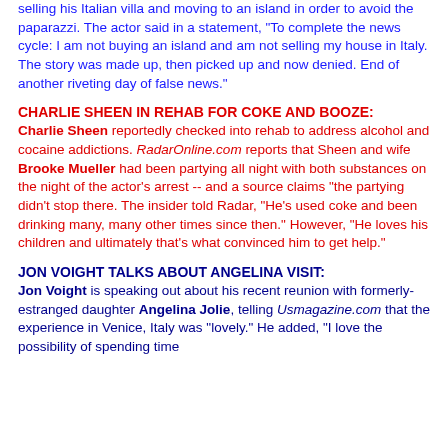selling his Italian villa and moving to an island in order to avoid the paparazzi. The actor said in a statement, "To complete the news cycle: I am not buying an island and am not selling my house in Italy. The story was made up, then picked up and now denied. End of another riveting day of false news."
CHARLIE SHEEN IN REHAB FOR COKE AND BOOZE:
Charlie Sheen reportedly checked into rehab to address alcohol and cocaine addictions. RadarOnline.com reports that Sheen and wife Brooke Mueller had been partying all night with both substances on the night of the actor's arrest -- and a source claims "the partying didn't stop there. The insider told Radar, "He's used coke and been drinking many, many other times since then." However, "He loves his children and ultimately that's what convinced him to get help."
JON VOIGHT TALKS ABOUT ANGELINA VISIT:
Jon Voight is speaking out about his recent reunion with formerly-estranged daughter Angelina Jolie, telling Usmagazine.com that the experience in Venice, Italy was "lovely." He added, "I love the possibility of spending time